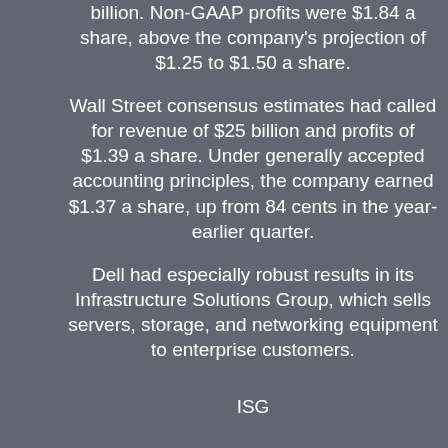billion. Non-GAAP profits were $1.84 a share, above the company's projection of $1.25 to $1.50 a share.
Wall Street consensus estimates had called for revenue of $25 billion and profits of $1.39 a share. Under generally accepted accounting principles, the company earned $1.37 a share, up from 84 cents in the year-earlier quarter.
Dell had especially robust results in its Infrastructure Solutions Group, which sells servers, storage, and networking equipment to enterprise customers.
ISG